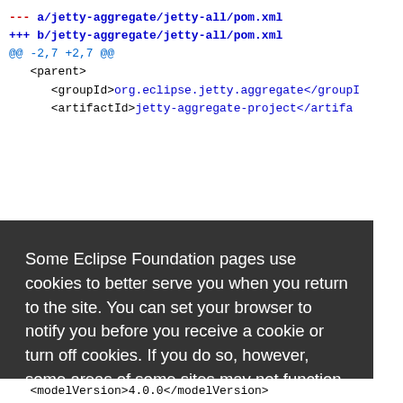--- a/jetty-aggregate/jetty-all/pom.xml
+++ b/jetty-aggregate/jetty-all/pom.xml
@@ -2,7 +2,7 @@
    <parent>
        <groupId>org.eclipse.jetty.aggregate</groupI...
        <artifactId>jetty-aggregate-project</artifa...
Some Eclipse Foundation pages use cookies to better serve you when you return to the site. You can set your browser to notify you before you receive a cookie or turn off cookies. If you do so, however, some areas of some sites may not function properly. To read Eclipse Foundation Privacy Policy click here.
<modelVersion>4.0.0</modelVersion>